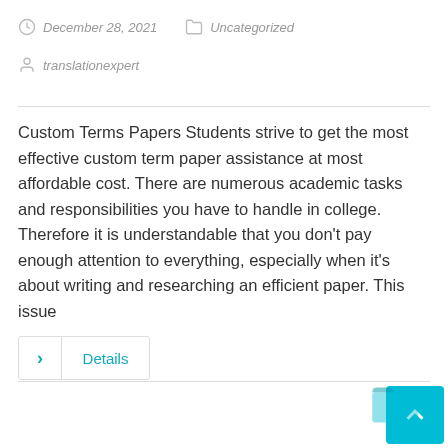December 28, 2021   Uncategorized
translationexpert
Custom Terms Papers Students strive to get the most effective custom term paper assistance at most affordable cost. There are numerous academic tasks and responsibilities you have to handle in college. Therefore it is understandable that you don't pay enough attention to everything, especially when it's about writing and researching an efficient paper. This issue
Details